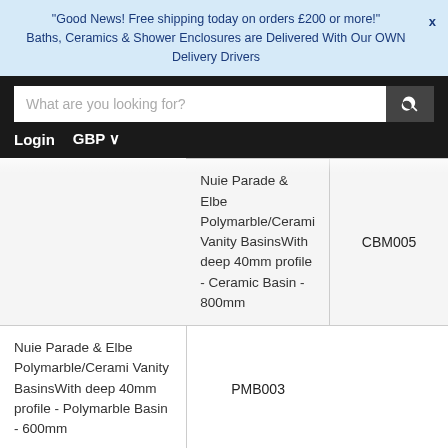"Good News! Free shipping today on orders £200 or more!" x
Baths, Ceramics & Shower Enclosures are Delivered With Our OWN Delivery Drivers
[Figure (screenshot): Website navigation bar with search input placeholder 'What are you looking for?' and search button, Login and GBP currency links below]
| Product Name | Code |
| --- | --- |
| Nuie Parade & Elbe Polymarble/Cerami Vanity BasinsWith deep 40mm profile - Ceramic Basin - 800mm | CBM005 |
| Nuie Parade & Elbe Polymarble/Cerami Vanity BasinsWith deep 40mm profile - Polymarble Basin - 600mm | PMB003 |
| Nuie Parade & Elbe Polymarble/Cerami Vanity BasinsWith deep 40mm profile - Polymarble Basin - 800mm | PMB005 |